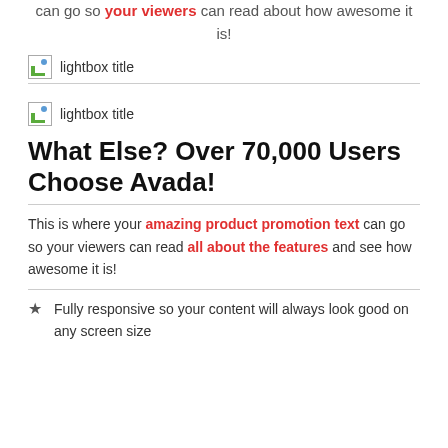can go so your viewers can read about how awesome it is!
[Figure (photo): Image placeholder with lightbox title label]
[Figure (photo): Image placeholder with lightbox title label (left-aligned)]
What Else? Over 70,000 Users Choose Avada!
This is where your amazing product promotion text can go so your viewers can read all about the features and see how awesome it is!
Fully responsive so your content will always look good on any screen size